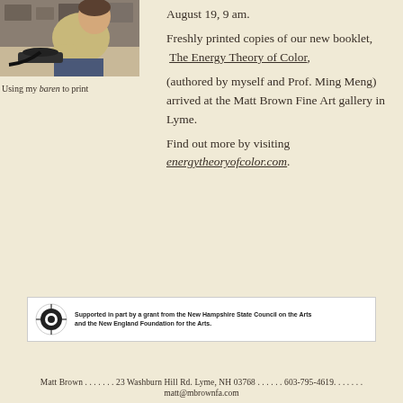[Figure (photo): Photo of a person using a baren to print at a workbench]
Using my baren to print
August 19, 9 am. Freshly printed copies of our new booklet, The Energy Theory of Color, (authored by myself and Prof. Ming Meng) arrived at the Matt Brown Fine Art gallery in Lyme. Find out more by visiting energytheoryofcolor.com.
[Figure (logo): New Hampshire State Council on the Arts logo with text: Supported in part by a grant from the New Hampshire State Council on the Arts and the New England Foundation for the Arts.]
Matt Brown . . . . . . . 23 Washburn Hill Rd. Lyme, NH 03768 . . . . . . 603-795-4619. . . . . . .
matt@mbrownfa.com